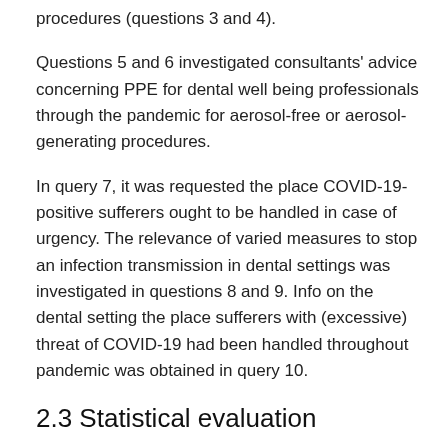procedures (questions 3 and 4).
Questions 5 and 6 investigated consultants' advice concerning PPE for dental well being professionals through the pandemic for aerosol-free or aerosol-generating procedures.
In query 7, it was requested the place COVID-19-positive sufferers ought to be handled in case of urgency. The relevance of varied measures to stop an infection transmission in dental settings was investigated in questions 8 and 9. Info on the dental setting the place sufferers with (excessive) threat of COVID-19 had been handled throughout pandemic was obtained in query 10.
2.3 Statistical evaluation
The information evaluation was carried out utilizing Microsoft Excel® for Mac model 16.37 (Microsoft®, USA).